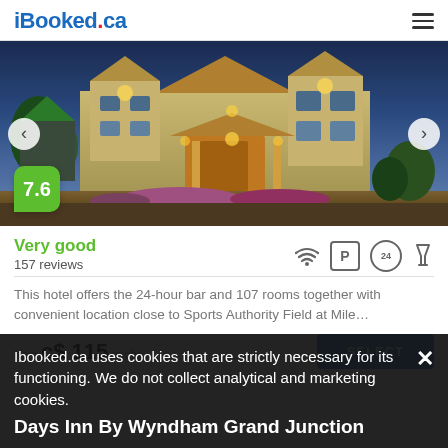iBooked.ca
[Figure (photo): Hotel exterior photo at dusk showing illuminated two-story building with warm golden lights, landscaped entrance, navigation arrows on left and right, and a 7.6 score badge in green at bottom left]
Very good
157 reviews
This hotel offers the 24-hour bar and 107 rooms together with convenient location close to Sports Authority Field at Mile…
from c$ 115/night
Ibooked.ca uses cookies that are strictly necessary for its functioning. We do not collect analytical and marketing cookies.
Days Inn By Wyndham Grand Junction